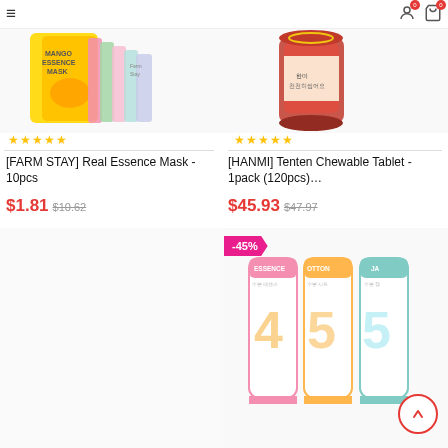[Figure (screenshot): E-commerce product listing page showing Korean beauty and health products in a 2-column grid layout with discount badges, star ratings, prices, and navigation bar.]
[FARM STAY] Real Essence Mask - 10pcs
$1.81 $10.62
[HANMI] Tenten Chewable Tablet - 1pack (120pcs)...
$45.93 $47.97
-40%
-45%